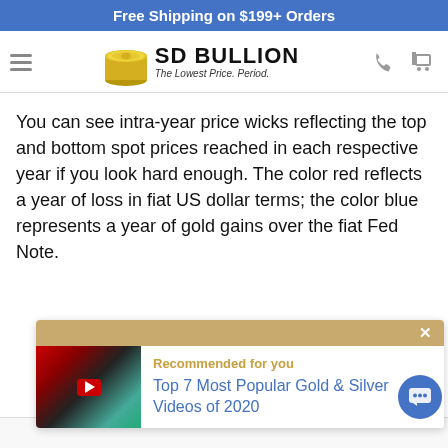Free Shipping on $199+ Orders
[Figure (logo): SD Bullion logo with coin image and tagline 'The Lowest Price. Period.']
You can see intra-year price wicks reflecting the top and bottom spot prices reached in each respective year if you look hard enough. The color red reflects a year of loss in fiat US dollar terms; the color blue represents a year of gold gains over the fiat Fed Note.
[Figure (screenshot): Recommended for you card showing 'Top 7 Most Popular Gold & Silver Videos of 2020' with a video thumbnail]